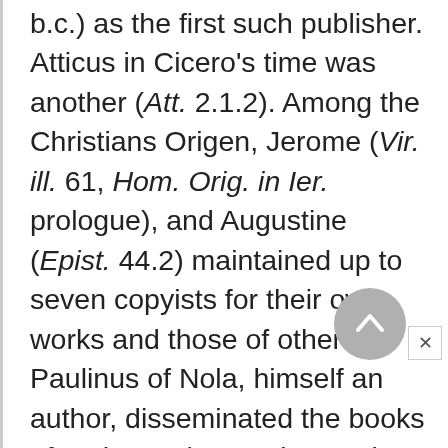b.c.) as the first such publisher. Atticus in Cicero's time was another (Att. 2.1.2). Among the Christians Origen, Jerome (Vir. ill. 61, Hom. Orig. in Ier. prologue), and Augustine (Epist. 44.2) maintained up to seven copyists for their own works and those of others. Paulinus of Nola, himself an author, disseminated the books of Ambrose (Augustine, Epist. 31.8); requested the books of Augustine not only for his personal instruction "but for the good of many churches" (Paulinus, Epist.